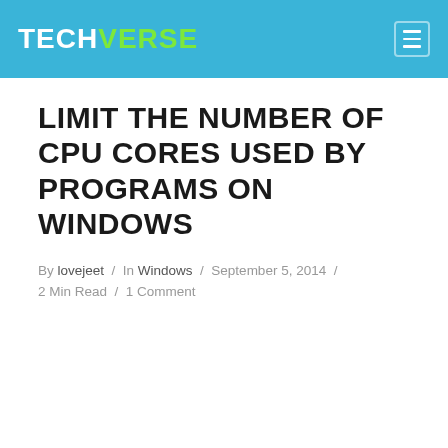TECHVERSE
LIMIT THE NUMBER OF CPU CORES USED BY PROGRAMS ON WINDOWS
By lovejeet / In Windows / September 5, 2014 / 2 Min Read / 1 Comment